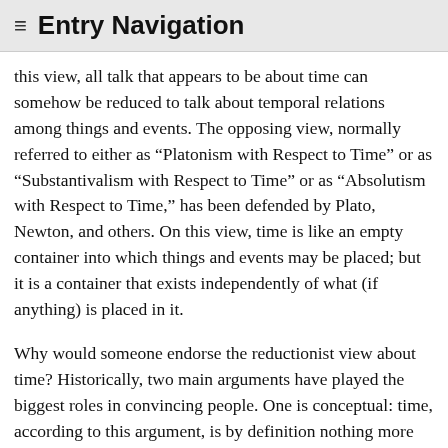≡ Entry Navigation
this view, all talk that appears to be about time can somehow be reduced to talk about temporal relations among things and events. The opposing view, normally referred to either as “Platonism with Respect to Time” or as “Substantivalism with Respect to Time” or as “Absolutism with Respect to Time,” has been defended by Plato, Newton, and others. On this view, time is like an empty container into which things and events may be placed; but it is a container that exists independently of what (if anything) is placed in it.
Why would someone endorse the reductionist view about time? Historically, two main arguments have played the biggest roles in convincing people. One is conceptual: time, according to this argument, is by definition nothing more than a system of temporal relations among things and events, so that the idea of a period of time without change turns out to be incoherent. The other main argument for Reductionism is epistemological: we could never have any reason, according to this argument, to